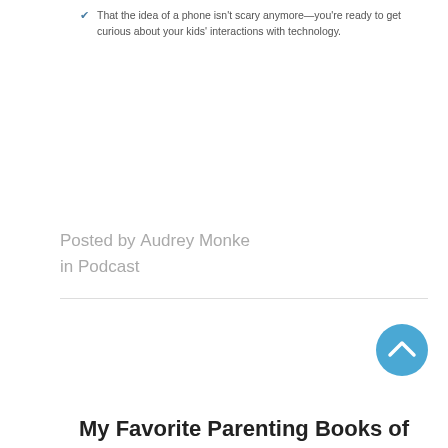That the idea of a phone isn't scary anymore—you're ready to get curious about your kids' interactions with technology.
Posted by Audrey Monke in Podcast
My Favorite Parenting Books of